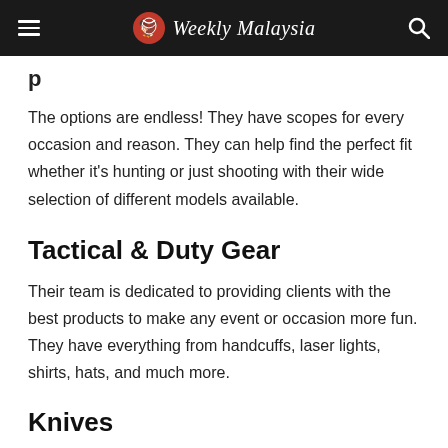Weekly Malaysia
p
The options are endless! They have scopes for every occasion and reason. They can help find the perfect fit whether it's hunting or just shooting with their wide selection of different models available.
Tactical & Duty Gear
Their team is dedicated to providing clients with the best products to make any event or occasion more fun. They have everything from handcuffs, laser lights, shirts, hats, and much more.
Knives
They take great pride in the variety of knives that they offer